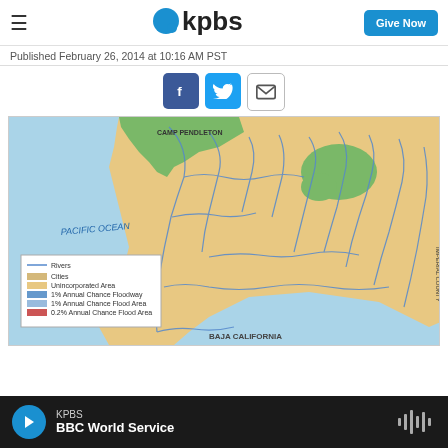KPBS — Give Now
Published February 26, 2014 at 10:16 AM PST
[Figure (other): Social sharing buttons: Facebook, Twitter, Email]
[Figure (map): Flood zone map of San Diego County showing Pacific Ocean coastline, Camp Pendleton, rivers, cities, unincorporated areas, 1% Annual Chance Floodway, 1% Annual Chance Flood Area, 0.2% Annual Chance Flood Area, and Baja California border. Legend includes: Rivers, Cities, Unincorporated Area, 1% Annual Chance Floodway, 1% Annual Chance Flood Area, 0.2% Annual Chance Flood Area.]
KPBS — BBC World Service